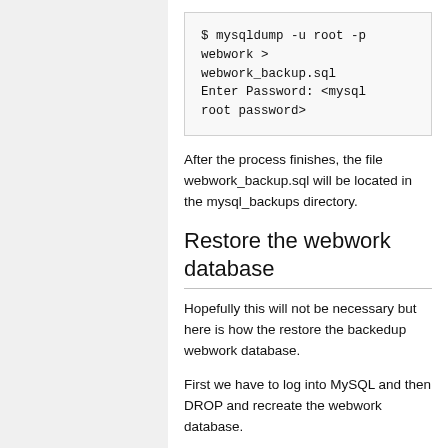$ mysqldump -u root -p webwork > webwork_backup.sql
Enter Password: <mysql root password>
After the process finishes, the file webwork_backup.sql will be located in the mysql_backups directory.
Restore the webwork database
Hopefully this will not be necessary but here is how the restore the backedup webwork database.
First we have to log into MySQL and then DROP and recreate the webwork database.